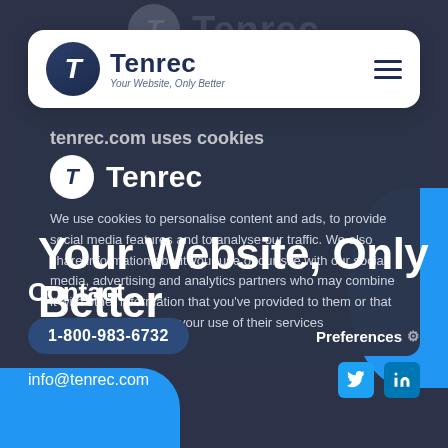[Figure (screenshot): Tenrec website screenshot showing navbar with logo, cookie consent overlay, hero text, and contact section footer on dark blue background with blue decorative elements]
Tenrec — Your Website, Only Better
Your Website, Only Better
tenrec.com uses cookies
Tenrec
We use cookies to personalise content and ads, to provide social media features and to analyse our traffic. We also share information about your use of our site with our social media, advertising and analytics partners who may combine it with other information that you've provided to them or that they've collected from your use of their services
Contact
1-800-983-6732
info@tenrec.com
Preferences